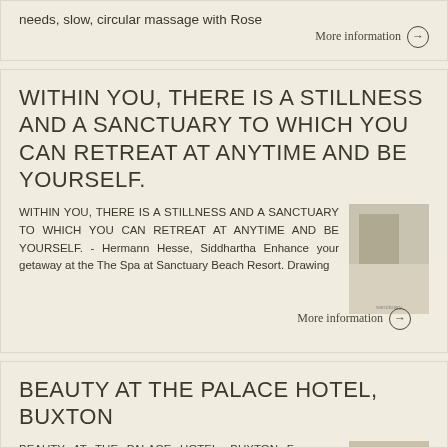needs, slow, circular massage with Rose
More information →
WITHIN YOU, THERE IS A STILLNESS AND A SANCTUARY TO WHICH YOU CAN RETREAT AT ANYTIME AND BE YOURSELF.
WITHIN YOU, THERE IS A STILLNESS AND A SANCTUARY TO WHICH YOU CAN RETREAT AT ANYTIME AND BE YOURSELF. - Hermann Hesse, Siddhartha Enhance your getaway at the The Spa at Sanctuary Beach Resort. Drawing
[Figure (photo): A photo thumbnail of a spa or nature scene]
More information →
BEAUTY AT THE PALACE HOTEL, BUXTON
BEAUTY AT THE PALACE HOTEL, BUXTON For more information and to book please call the Spa Reception Desk on 01298 24859
[Figure (photo): A photo of a spa treatment with candles and a person receiving a massage]